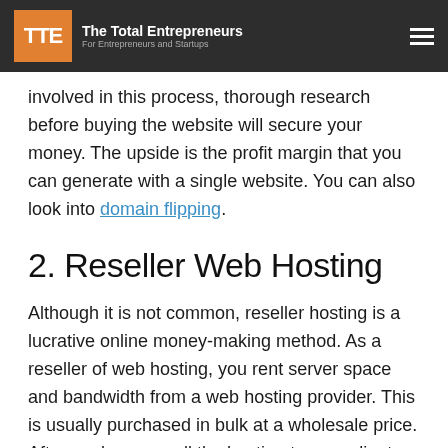TTE The Total Entrepreneurs For Entrepreneurs and Startups
involved in this process, thorough research before buying the website will secure your money. The upside is the profit margin that you can generate with a single website. You can also look into domain flipping.
2. Reseller Web Hosting
Although it is not common, reseller hosting is a lucrative online money-making method. As a reseller of web hosting, you rent server space and bandwidth from a web hosting provider. This is usually purchased in bulk at a wholesale price. Afterward, you resell the hosting to your clients, branding them as your own. You have the option to create your own reseller hosting plans and resell them